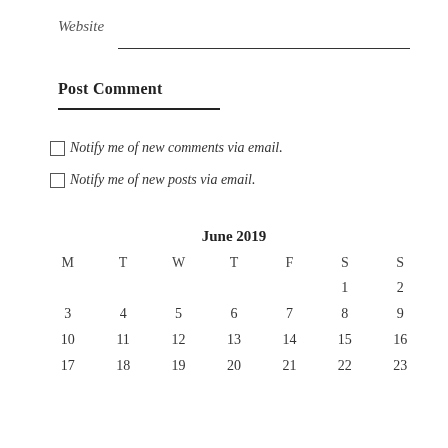Website
Post Comment
Notify me of new comments via email.
Notify me of new posts via email.
| M | T | W | T | F | S | S |
| --- | --- | --- | --- | --- | --- | --- |
|  |  |  |  |  | 1 | 2 |
| 3 | 4 | 5 | 6 | 7 | 8 | 9 |
| 10 | 11 | 12 | 13 | 14 | 15 | 16 |
| 17 | 18 | 19 | 20 | 21 | 22 | 23 |